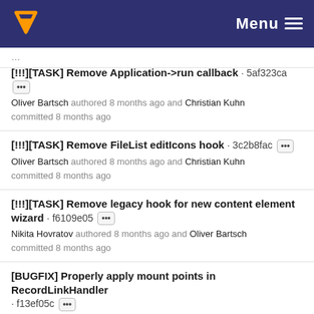Menu
[!!!][TASK] Remove Application->run callback · 5af323ca
Oliver Bartsch authored 8 months ago and Christian Kuhn committed 8 months ago
[!!!][TASK] Remove FileList editIcons hook · 3c2b8fac
Oliver Bartsch authored 8 months ago and Christian Kuhn committed 8 months ago
[!!!][TASK] Remove legacy hook for new content element wizard · f6109e05
Nikita Hovratov authored 8 months ago and Oliver Bartsch committed 8 months ago
[BUGFIX] Properly apply mount points in RecordLinkHandler · f13ef05c
Oliver Bartsch authored 8 months ago
01 Dec, 2021 12 commits